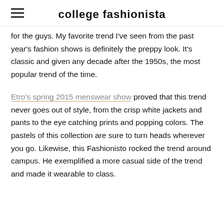college fashionista
for the guys. My favorite trend I've seen from the past year's fashion shows is definitely the preppy look. It's classic and given any decade after the 1950s, the most popular trend of the time.
Etro's spring 2015 menswear show proved that this trend never goes out of style, from the crisp white jackets and pants to the eye catching prints and popping colors. The pastels of this collection are sure to turn heads wherever you go. Likewise, this Fashionisto rocked the trend around campus. He exemplified a more casual side of the trend and made it wearable to class.